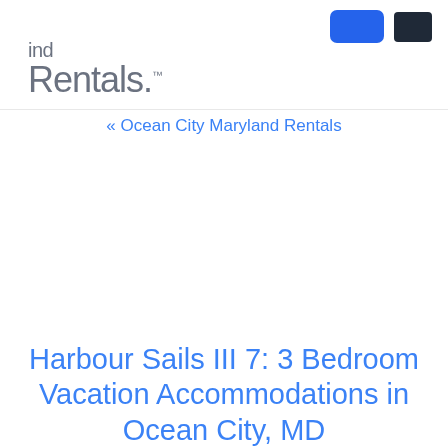Rentals.
« Ocean City Maryland Rentals
Harbour Sails III 7: 3 Bedroom Vacation Accommodations in Ocean City, MD